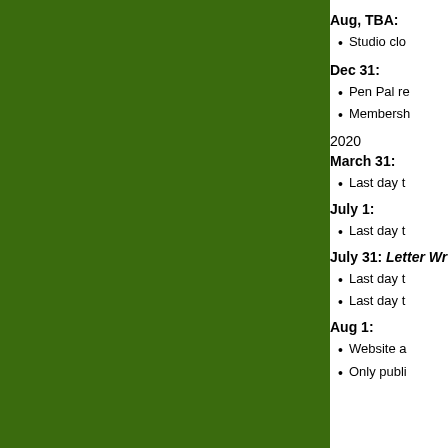[Figure (other): Dark green rectangular panel occupying the left portion of the page]
Aug, TBA:
Studio clo…
Dec 31:
Pen Pal re…
Membersh…
2020
March 31:
Last day t…
July 1:
Last day t…
July 31: Letter Wr…
Last day t…
Last day t…
Aug 1:
Website a…
Only publi…